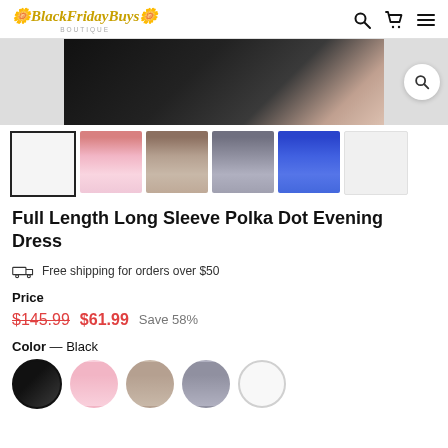BlackFridayBuys Boutique
[Figure (photo): Main product image of a black polka dot evening dress, partially visible]
[Figure (photo): Six product thumbnail images showing the dress in: (1) empty/black (selected), (2) pink, (3) tan/taupe, (4) gray, (5) blue, (6) empty]
Full Length Long Sleeve Polka Dot Evening Dress
Free shipping for orders over $50
Price
$145.99  $61.99  Save 58%
Color — Black
[Figure (photo): Color swatches: black (selected with circle border), pink, tan, gray, white]